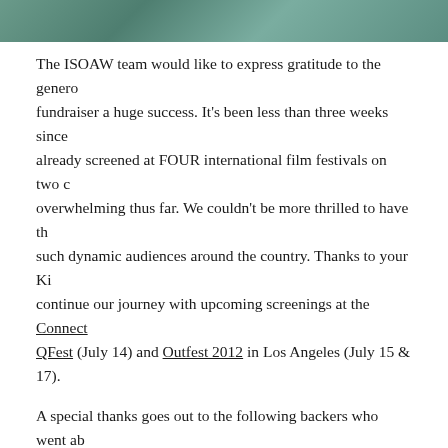[Figure (photo): Decorative header image with teal/green textured background]
The ISOAW team would like to express gratitude to the generous fundraiser a huge success. It's been less than three weeks since already screened at FOUR international film festivals on two c overwhelming thus far. We couldn't be more thrilled to have t such dynamic audiences around the country. Thanks to your Ki continue our journey with upcoming screenings at the Connect QFest (July 14) and Outfest 2012 in Los Angeles (July 15 & 17).
A special thanks goes out to the following backers who went ab into the world. We are amazed and inspired by your support.
Sincere thanks,
—Amanda Hammett, Lucas Joaquin, Cary Kehayan and Ira Sac
Adam Hohenberg
Adam Keleman
Anne Hubbell
August